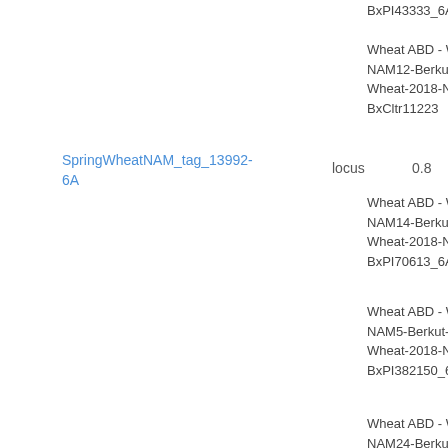BxPI43333_6A
Wheat ABD - Wheat-2018-NAM12-Berkut-x-Cltr11223 - Wheat-2018-NAM12-BxCltr11223
SpringWheatNAM_tag_13992-6A
locus
0.8
Wheat ABD - Wheat-2018-NAM14-Berkut-x-PI70613 - Wheat-2018-NAM14-BxPI70613_6A
Wheat ABD - Wheat-2018-NAM5-Berkut-x-PI382150 - Wheat-2018-NAM5-BxPI382150_6A
Wheat ABD - Wheat-2018-NAM24-Berkut-x-PI192147 - Wheat-2018-NAM24-BxPI192147
Wheat ABD - Wheat-2018-NAM10-Berkut-x-PI9791 - Wheat-2018-NAM10-BxPI9791_6A
Wheat ABD - Wheat-2018-NAM7-Berkut-x-PI565213 - Wheat-2018-NAM7-BxPI565213_6A
Wheat ABD - Wheat-